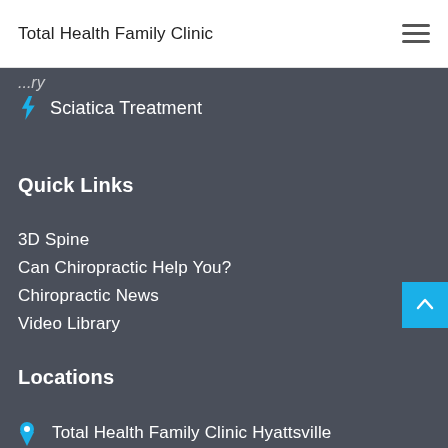Total Health Family Clinic
Sciatica Treatment
Quick Links
3D Spine
Can Chiropractic Help You?
Chiropractic News
Video Library
Locations
Total Health Family Clinic Hyattsville
Total Health Family Clinic [partial]